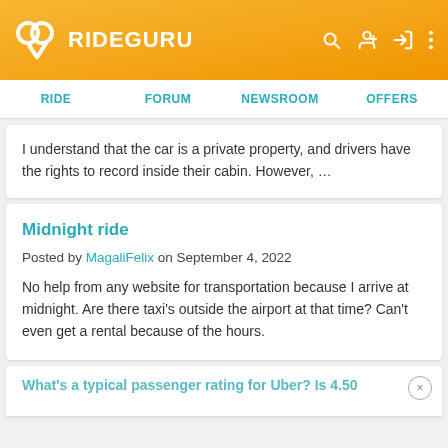RIDEGURU
I understand that the car is a private property, and drivers have the rights to record inside their cabin. However, ...
Midnight ride
Posted by MagaliFelix on September 4, 2022
No help from any website for transportation because I arrive at midnight. Are there taxi's outside the airport at that time? Can't even get a rental because of the hours.
What's a typical passenger rating for Uber? Is 4.50